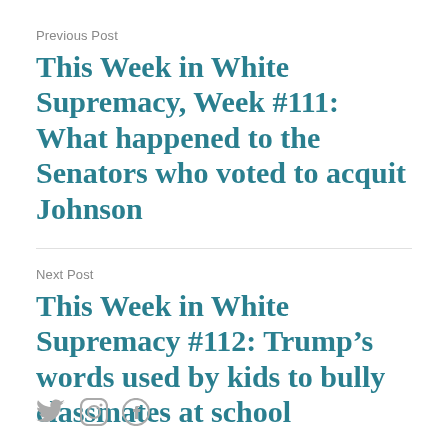Previous Post
This Week in White Supremacy, Week #111: What happened to the Senators who voted to acquit Johnson
Next Post
This Week in White Supremacy #112: Trump’s words used by kids to bully classmates at school
[Figure (illustration): Social media icons: Twitter bird, Instagram camera, Facebook f]